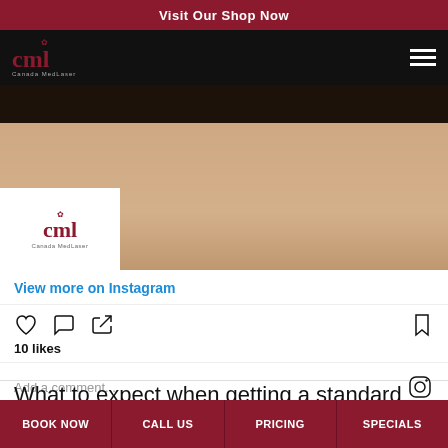Visit Our Shop Now
[Figure (logo): Canada MedLaser logo with maple leaf, white text on black navigation bar]
[Figure (photo): Close-up photo of a person's forehead/skin, showing treatment results. Canada MedLaser logo overlay in bottom-left corner.]
View more on Instagram
10 likes
Add a comment...
What to expect when getting a standard
BOOK NOW | CALL US | PRICING | SPECIALS